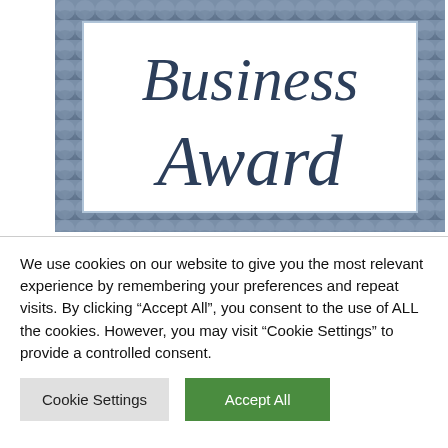[Figure (illustration): A decorative business award certificate with a blue scalloped/diamond-pattern border and white center containing the text 'Business Award' in large italic cursive script in dark blue color.]
(List all of your business awards certifications, accreditations, recognitions, publications
We use cookies on our website to give you the most relevant experience by remembering your preferences and repeat visits. By clicking "Accept All", you consent to the use of ALL the cookies. However, you may visit "Cookie Settings" to provide a controlled consent.